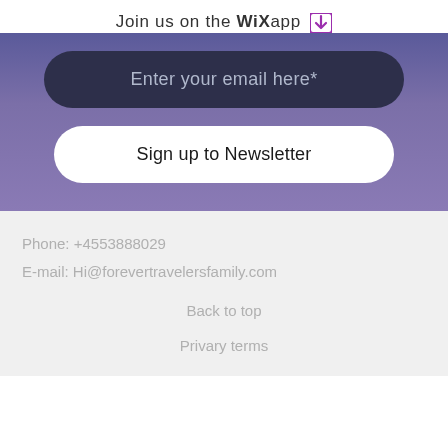Join us on the Wix app ↓
[Figure (screenshot): Newsletter signup widget with dark navy email input pill field showing 'Enter your email here*' and a white pill button 'Sign up to Newsletter' on a purple gradient background]
Phone: +4553888029
E-mail: Hi@forevertravelersfamily.com
Back to top
Privary terms